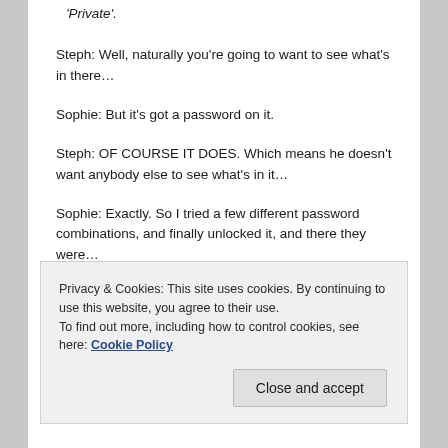'Private'.
Steph: Well, naturally you're going to want to see what's in there…
Sophie: But it's got a password on it.
Steph: OF COURSE IT DOES. Which means he doesn't want anybody else to see what's in it…
Sophie: Exactly. So I tried a few different password combinations, and finally unlocked it, and there they were…
Steph: What?
Privacy & Cookies: This site uses cookies. By continuing to use this website, you agree to their use.
To find out more, including how to control cookies, see here: Cookie Policy
Close and accept